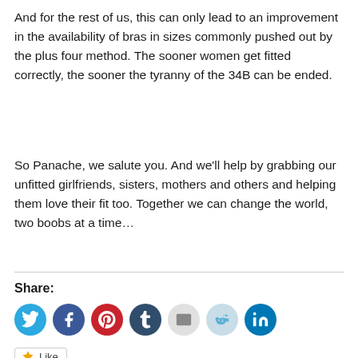And for the rest of us, this can only lead to an improvement in the availability of bras in sizes commonly pushed out by the plus four method.  The sooner women get fitted correctly, the sooner the tyranny of the 34B can be ended.
So Panache, we salute you.  And we'll help by grabbing our unfitted girlfriends, sisters, mothers and others and helping them love their fit too.  Together we can change the world, two boobs at a time…
Share:
[Figure (infographic): A row of social media share icons: Twitter (blue), Facebook (blue), Pinterest (red), Tumblr (dark blue), Email (light grey), Reddit (light blue), LinkedIn (blue)]
Like
Be the first to like this.